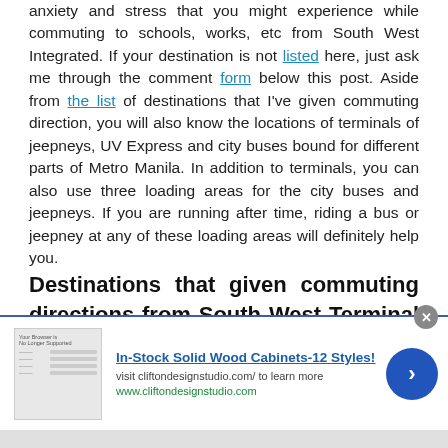anxiety and stress that you might experience while commuting to schools, works, etc from South West Integrated. If your destination is not listed here, just ask me through the comment form below this post. Aside from the list of destinations that I've given commuting direction, you will also know the locations of terminals of jeepneys, UV Express and city buses bound for different parts of Metro Manila. In addition to terminals, you can also use three loading areas for the city buses and jeepneys. If you are running after time, riding a bus or jeepney at any of these loading areas will definitely help you.
Destinations that given commuting directions from South West Terminal in this post:
[Figure (other): Advertisement banner for In-Stock Solid Wood Cabinets-12 Styles! with image of a browser/table, text 'visit cliftondesignstudio.com/ to learn more', URL www.cliftondesignstudio.com, a forward arrow button, and a close X button]